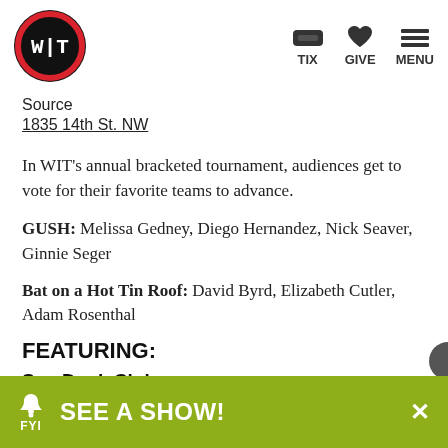[Figure (logo): WIT logo: black circle with red border ring and white W|T text in monospace font]
TIX  GIVE  MENU
Source
1835 14th St. NW
In WIT's annual bracketed tournament, audiences get to vote for their favorite teams to advance.
GUSH: Melissa Gedney, Diego Hernandez, Nick Seaver, Ginnie Seger
Bat on a Hot Tin Roof: David Byrd, Elizabeth Cutler, Adam Rosenthal
FEATURING:
Soy Duck Club:
SEE A SHOW!